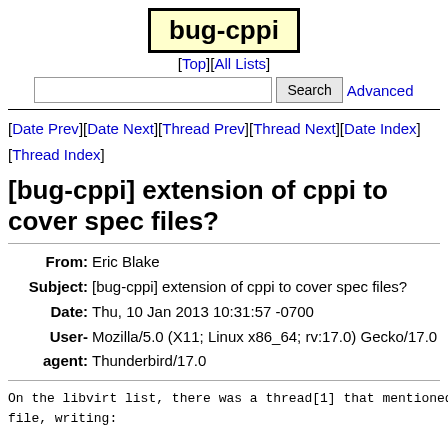bug-cppi
[Top][All Lists]
[Date Prev][Date Next][Thread Prev][Thread Next][Date Index][Thread Index]
[bug-cppi] extension of cppi to cover spec files?
From: Eric Blake
Subject: [bug-cppi] extension of cppi to cover spec files?
Date: Thu, 10 Jan 2013 10:31:57 -0700
User-agent: Mozilla/5.0 (X11; Linux x86_64; rv:17.0) Gecko/17.0 Thunderbird/17.0
On the libvirt list, there was a thread[1] that mentioned
file, writing:

%if %{condition1}
 %define foo 0
%else